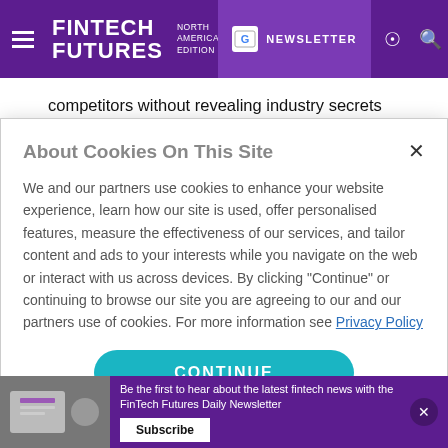FINTECH FUTURES NORTH AMERICAN EDITION | NEWSLETTER
competitors without revealing industry secrets
Benefit from the network growth through a token-economical business model that governs and grows the
About Cookies On This Site

We and our partners use cookies to enhance your website experience, learn how our site is used, offer personalised features, measure the effectiveness of our services, and tailor content and ads to your interests while you navigate on the web or interact with us across devices. By clicking "Continue" or continuing to browse our site you are agreeing to our and our partners use of cookies. For more information see Privacy Policy

CONTINUE
Be the first to hear about the latest fintech news with the FinTech Futures Daily Newsletter
Subscribe